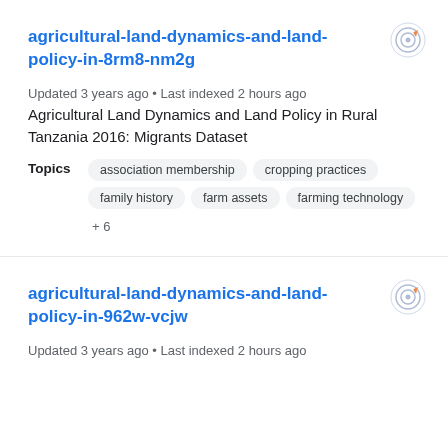agricultural-land-dynamics-and-land-policy-in-8rm8-nm2g
Updated 3 years ago • Last indexed 2 hours ago
Agricultural Land Dynamics and Land Policy in Rural Tanzania 2016: Migrants Dataset
Topics: association membership, cropping practices, family history, farm assets, farming technology + 6
agricultural-land-dynamics-and-land-policy-in-962w-vcjw
Updated 3 years ago • Last indexed 2 hours ago